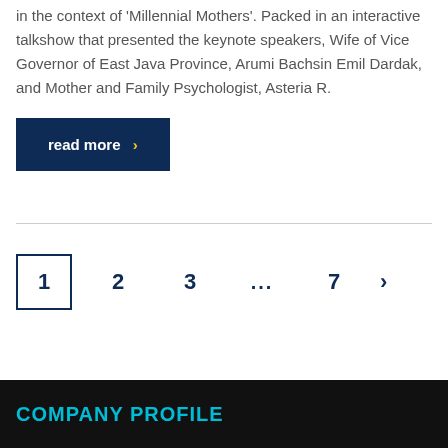in the context of 'Millennial Mothers'. Packed in an interactive talkshow that presented the keynote speakers, Wife of Vice Governor of East Java Province, Arumi Bachsin Emil Dardak, and Mother and Family Psychologist, Asteria R.
read more ›
1  2  3  ...  7  ›
COMPANY PROFILE